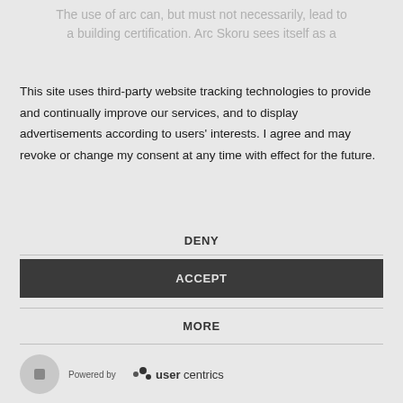The use of arc can, but must not necessarily, lead to a building certification. Arc Skoru sees itself as a
This site uses third-party website tracking technologies to provide and continually improve our services, and to display advertisements according to users' interests. I agree and may revoke or change my consent at any time with effect for the future.
DENY
ACCEPT
MORE
Powered by usercentrics